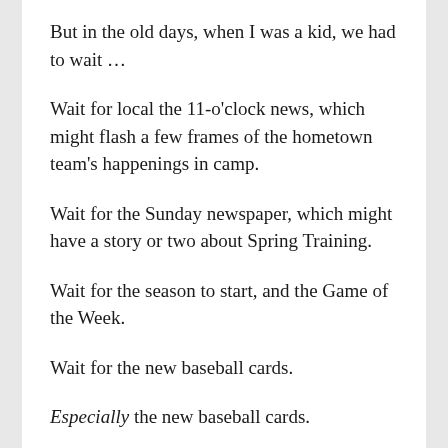But in the old days, when I was a kid, we had to wait …
Wait for local the 11-o'clock news, which might flash a few frames of the hometown team's happenings in camp.
Wait for the Sunday newspaper, which might have a story or two about Spring Training.
Wait for the season to start, and the Game of the Week.
Wait for the new baseball cards.
Especially the new baseball cards.